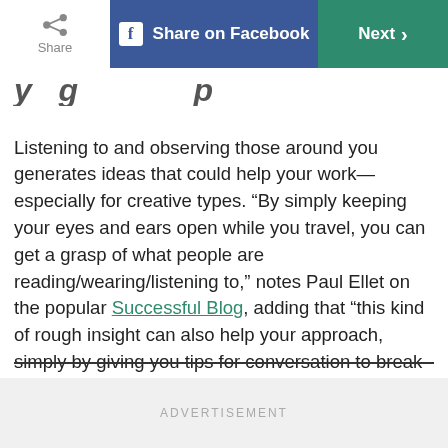Share | Share on Facebook | Next
Listening to and observing those around you generates ideas that could help your work—especially for creative types. “By simply keeping your eyes and ears open while you travel, you can get a grasp of what people are reading/wearing/listening to,” notes Paul Ellet on the popular Successful Blog, adding that “this kind of rough insight can also help your approach, simply by giving you tips for conversation to break the ice.”
ADVERTISEMENT